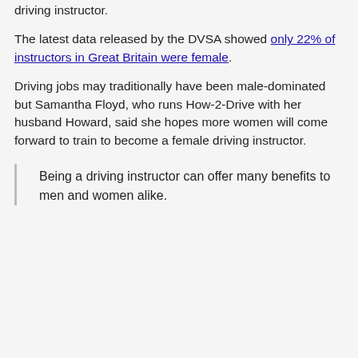driving instructor.
The latest data released by the DVSA showed only 22% of instructors in Great Britain were female.
Driving jobs may traditionally have been male-dominated but Samantha Floyd, who runs How-2-Drive with her husband Howard, said she hopes more women will come forward to train to become a female driving instructor.
Being a driving instructor can offer many benefits to men and women alike.